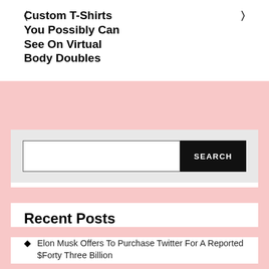Custom T-Shirts You Possibly Can See On Virtual Body Doubles
[Figure (screenshot): Search bar widget with text input field and black SEARCH button on light gray background]
Recent Posts
Elon Musk Offers To Purchase Twitter For A Reported $Forty Three Billion